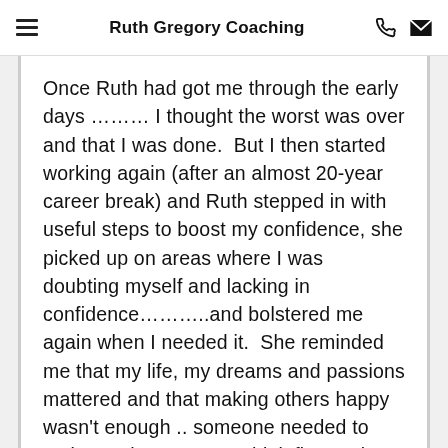Ruth Gregory Coaching
Once Ruth had got me through the early days ……… I thought the worst was over and that I was done.  But I then started working again (after an almost 20-year career break) and Ruth stepped in with useful steps to boost my confidence, she picked up on areas where I was doubting myself and lacking in confidence………..and bolstered me again when I needed it.  She reminded me that my life, my dreams and passions mattered and that making others happy wasn't enough .. someone needed to make me happy.  But I think first and